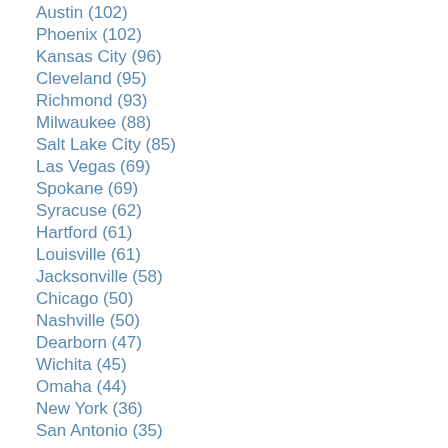Austin (102)
Phoenix (102)
Kansas City (96)
Cleveland (95)
Richmond (93)
Milwaukee (88)
Salt Lake City (85)
Las Vegas (69)
Spokane (69)
Syracuse (62)
Hartford (61)
Louisville (61)
Jacksonville (58)
Chicago (50)
Nashville (50)
Dearborn (47)
Wichita (45)
Omaha (44)
New York (36)
San Antonio (35)